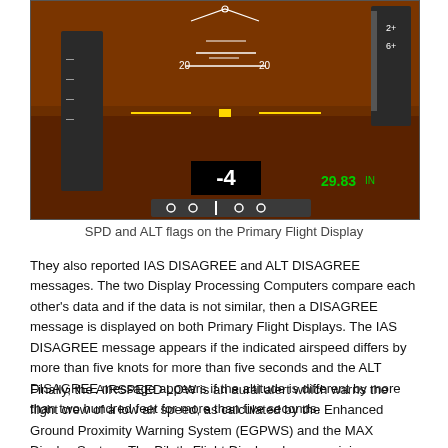[Figure (screenshot): Primary Flight Display showing SPD and ALT flags. Dark brown/orange background with flight instruments. A black rectangle shows '-4' in white text. Green text shows '29.83 IN'. Horizontal lines and circles visible as instrument indicators.]
SPD and ALT flags on the Primary Flight Display
They also reported IAS DISAGREE and ALT DISAGREE messages. The two Display Processing Computers compare each other's data and if the data is not similar, then a DISAGREE message is displayed on both Primary Flight Displays. The IAS DISAGREE message appears if the indicated airspeed differs by more than five knots for more than five seconds and the ALT DISAGREE message appears if the altitude is different by more than two hundred feet for more than five seconds.
Finally, the AIRSPEED LOW is an aural alert which warns the flight crew of a low air speed, as calculated by the Enhanced Ground Proximity Warning System (EGPWS) and the MAX Display System. The Pilot's Flight Display shows a minimum manoeuvre speed (in amber) and a minimum speed (red and black barber pole), where the top of the bar is the speed where the stick shaker